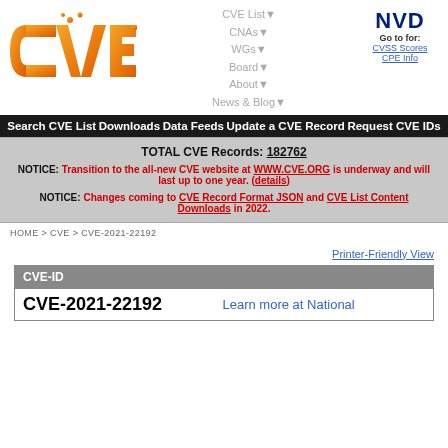[Figure (logo): CVE logo — orange gradient letters 'CVE' with circuit-board dot motif]
CVE List▼  CNAs▼  WGs▼  Board▼  About▼  News & Blog▼  NVD  Go to for: CVSS Scores  CPE Info
Search CVE List   Downloads   Data Feeds   Update a CVE Record   Request CVE IDs
TOTAL CVE Records: 182762

NOTICE: Transition to the all-new CVE website at WWW.CVE.ORG is underway and will last up to one year. (details)

NOTICE: Changes coming to CVE Record Format JSON and CVE List Content Downloads in 2022.
HOME > CVE > CVE-2021-22192
Printer-Friendly View
| CVE-ID |
| --- |
| CVE-2021-22192 | Learn more at National |